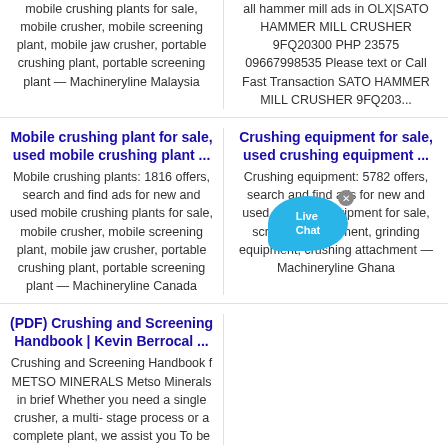mobile crushing plants for sale, mobile crusher, mobile screening plant, mobile jaw crusher, portable crushing plant, portable screening plant — Machineryline Malaysia
all hammer mill ads in OLX|SATO HAMMER MILL CRUSHER 9FQ20300 PHP 23575 09667998535 Please text or Call Fast Transaction SATO HAMMER MILL CRUSHER 9FQ203...
Mobile crushing plant for sale, used mobile crushing plant ...
Mobile crushing plants: 1816 offers, search and find ads for new and used mobile crushing plants for sale, mobile crusher, mobile screening plant, mobile jaw crusher, portable crushing plant, portable screening plant — Machineryline Canada
Crushing equipment for sale, used crushing equipment ...
Crushing equipment: 5782 offers, search and find ads for new and used crushing equipment for sale, screening equipment, grinding equipment, crushing attachment — Machineryline Ghana
(PDF) Crushing and Screening Handbook | Kevin Berrocal ...
Crushing and Screening Handbook f METSO MINERALS Metso Minerals in brief Whether you need a single crusher, a multi- stage process or a complete plant, we assist you To be